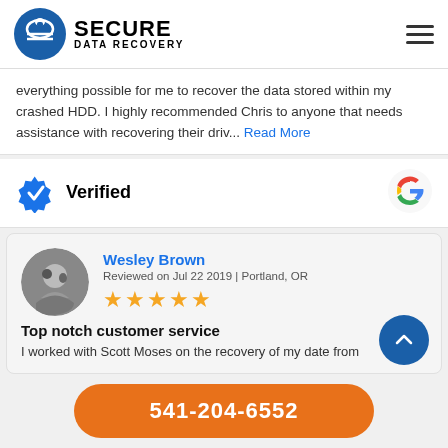[Figure (logo): Secure Data Recovery logo with blue circular icon and bold text]
everything possible for me to recover the data stored within my crashed HDD. I highly recommended Chris to anyone that needs assistance with recovering their driv... Read More
Verified
[Figure (logo): Google logo G icon]
Wesley Brown
Reviewed on Jul 22 2019 | Portland, OR
[Figure (other): Five gold star rating]
Top notch customer service
I worked with Scott Moses on the recovery of my date from
541-204-6552